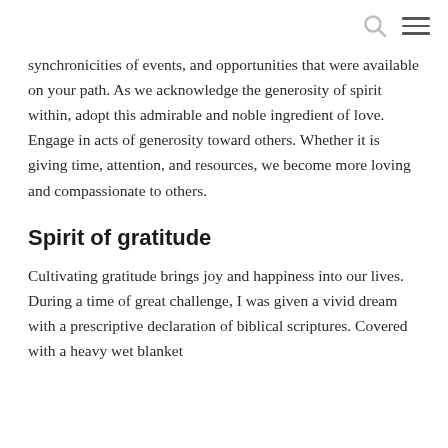[search icon] [menu icon]
synchronicities of events, and opportunities that were available on your path. As we acknowledge the generosity of spirit within, adopt this admirable and noble ingredient of love. Engage in acts of generosity toward others. Whether it is giving time, attention, and resources, we become more loving and compassionate to others.
Spirit of gratitude
Cultivating gratitude brings joy and happiness into our lives. During a time of great challenge, I was given a vivid dream with a prescriptive declaration of biblical scriptures. Covered with a heavy wet blanket